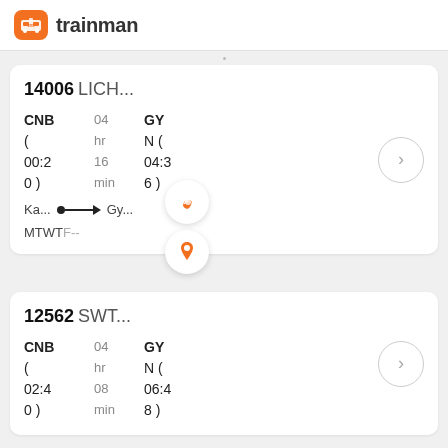tm trainman
14006 LICH... CNB (00:20) 04 hr 16 min GYN (04:36) Ka... --> Gy... MTWTF--
12562 SWT... CNB (02:40) 04 hr 08 min GYN (06:48)